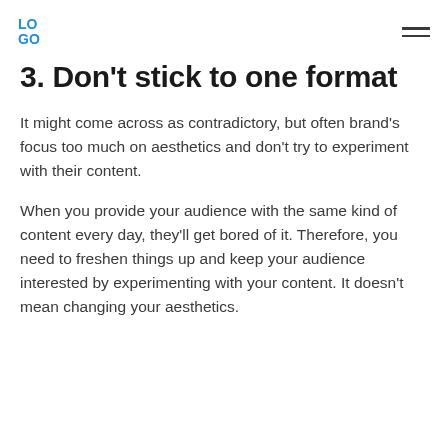LOGO
3. Don't stick to one format
It might come across as contradictory, but often brand's focus too much on aesthetics and don't try to experiment with their content.
When you provide your audience with the same kind of content every day, they'll get bored of it. Therefore, you need to freshen things up and keep your audience interested by experimenting with your content. It doesn't mean changing your aesthetics.